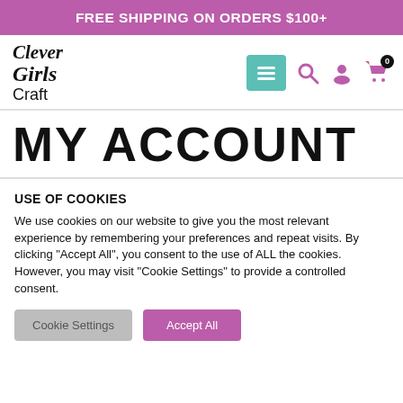FREE SHIPPING ON ORDERS $100+
[Figure (logo): Clever Girls Craft logo with navigation icons (menu, search, account, cart with 0 badge)]
MY ACCOUNT
USE OF COOKIES
We use cookies on our website to give you the most relevant experience by remembering your preferences and repeat visits. By clicking “Accept All”, you consent to the use of ALL the cookies. However, you may visit “Cookie Settings” to provide a controlled consent.
Cookie Settings | Accept All